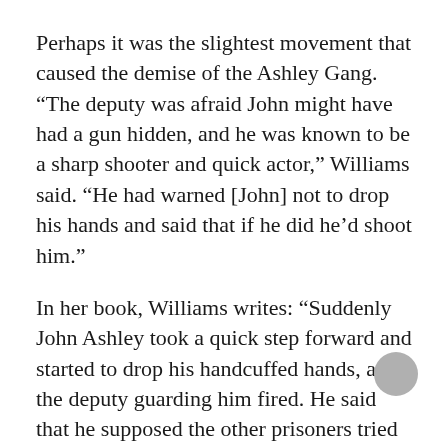Perhaps it was the slightest movement that caused the demise of the Ashley Gang. “The deputy was afraid John might have had a gun hidden, and he was known to be a sharp shooter and quick actor,” Williams said. “He had warned [John] not to drop his hands and said that if he did he’d shoot him.”
In her book, Williams writes: “Suddenly John Ashley took a quick step forward and started to drop his handcuffed hands, and the deputy guarding him fired. He said that he supposed the other prisoners tried to break, or that the deputies feared that John had fired on him, for suddenly there was a lot of shooting, and they were all killed.”
Of her secret deputy, Williams wrote: “He did not credit Sheriff Merritt with any of the shooting. He also did not apologize for his act. He made good a threat to John Ashley, and said that John had promised to kill all